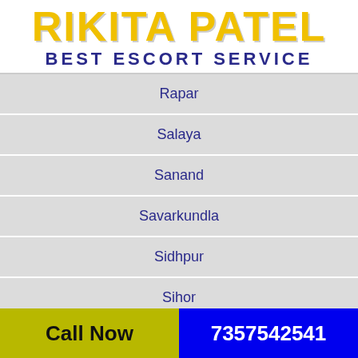RIKITA PATEL BEST ESCORT SERVICE
Rapar
Salaya
Sanand
Savarkundla
Sidhpur
Sihor
Songadh
Call Now   7357542541